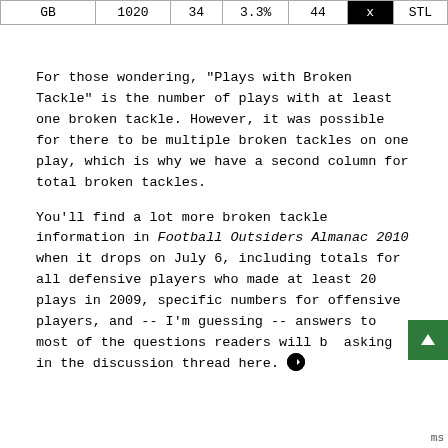| GB | 1020 | 34 | 3.3% | 44 | X | STL |
| --- | --- | --- | --- | --- | --- | --- |
For those wondering, "Plays with Broken Tackle" is the number of plays with at least one broken tackle. However, it was possible for there to be multiple broken tackles on one play, which is why we have a second column for total broken tackles.
You'll find a lot more broken tackle information in Football Outsiders Almanac 2010 when it drops on July 6, including totals for all defensive players who made at least 20 plays in 2009, specific numbers for offensive players, and -- I'm guessing -- answers to most of the questions readers will be asking in the discussion thread here.